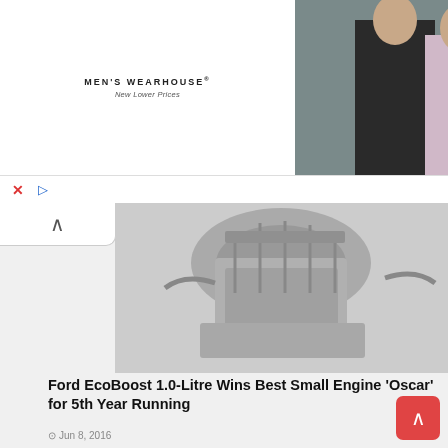[Figure (photo): Men's Wearhouse advertisement banner with logo on left, photo of couple in formal wear in center, and man in tuxedo on right with INFO button]
[Figure (photo): Partial view of a Ford EcoBoost engine, shown from above in grayscale]
Ford EcoBoost 1.0-Litre Wins Best Small Engine ‘Oscar’ for 5th Year Running
◎ Jun 8, 2016